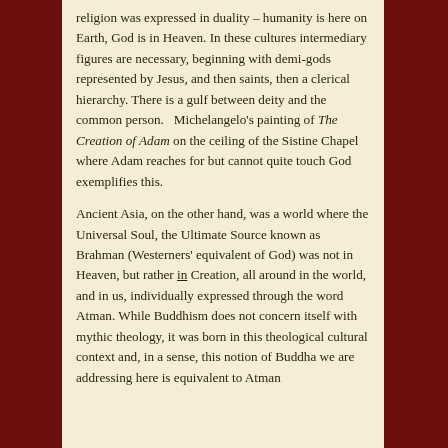religion was expressed in duality – humanity is here on Earth, God is in Heaven. In these cultures intermediary figures are necessary, beginning with demi-gods represented by Jesus, and then saints, then a clerical hierarchy. There is a gulf between deity and the common person.   Michelangelo's painting of The Creation of Adam on the ceiling of the Sistine Chapel where Adam reaches for but cannot quite touch God exemplifies this.

Ancient Asia, on the other hand, was a world where the Universal Soul, the Ultimate Source known as Brahman (Westerners' equivalent of God) was not in Heaven, but rather in Creation, all around in the world, and in us, individually expressed through the word Atman. While Buddhism does not concern itself with mythic theology, it was born in this theological cultural context and, in a sense, this notion of Buddha we are addressing here is equivalent to Atman